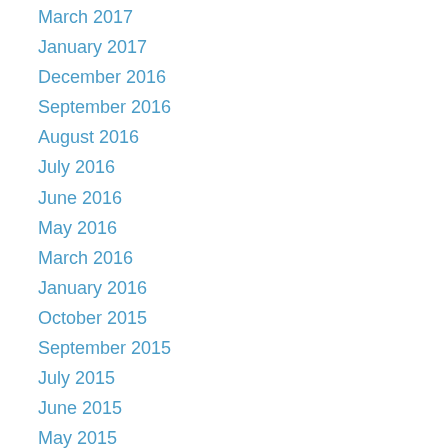March 2017
January 2017
December 2016
September 2016
August 2016
July 2016
June 2016
May 2016
March 2016
January 2016
October 2015
September 2015
July 2015
June 2015
May 2015
February 2015
January 2015
May 2014
March 2014
February 2014